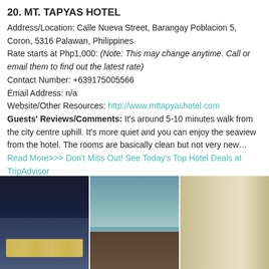20. MT. TAPYAS HOTEL
Address/Location: Calle Nueva Street, Barangay Poblacion 5, Coron, 5316 Palawan, Philippines
Rate starts at Php1,000: (Note: This may change anytime. Call or email them to find out the latest rate)
Contact Number: +639175005566
Email Address: n/a
Website/Other Resources: http://www.mttapyashotel.com
Guests' Reviews/Comments: It's around 5-10 minutes walk from the city centre uphill. It's more quiet and you can enjoy the seaview from the hotel. The rooms are basically clean but not very new... Read More>>> Don't Miss Out! See Today's Top Hotel Deals at TripAdvisor
[Figure (photo): Three hotel photos: nighttime exterior with lights, balcony/terrace with sea view at sunset, and hotel lobby/hallway with staff members]